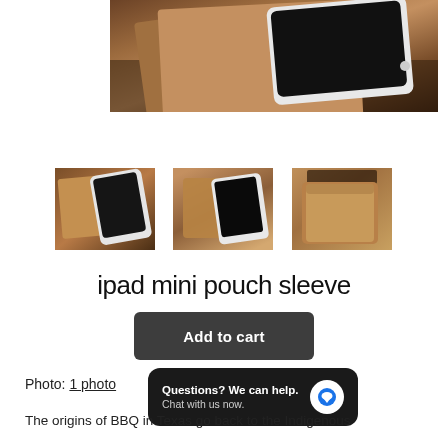[Figure (photo): Main product photo: leather iPad mini pouch/sleeve with iPad partially visible, shot on dark wooden surface]
[Figure (photo): Thumbnail 1: leather pouch with device being inserted, top-down view]
[Figure (photo): Thumbnail 2: leather pouch open showing tablet inside, angled view]
[Figure (photo): Thumbnail 3: closed leather pouch sleeve, frontal view]
ipad mini pouch sleeve
Add to cart
Photo: 1 photo
Questions? We can help. Chat with us now.
The origins of BBQ in Texas go back to the Indigenous